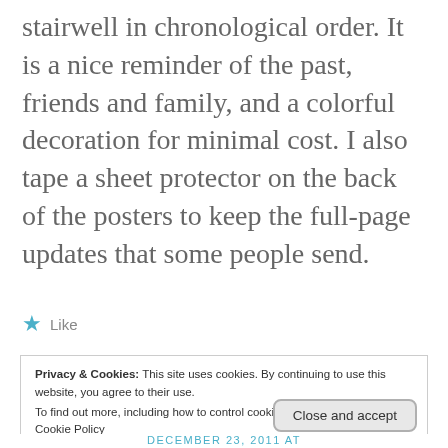stairwell in chronological order. It is a nice reminder of the past, friends and family, and a colorful decoration for minimal cost. I also tape a sheet protector on the back of the posters to keep the full-page updates that some people send.
★ Like
Privacy & Cookies: This site uses cookies. By continuing to use this website, you agree to their use.
To find out more, including how to control cookies, see here:
Cookie Policy
Close and accept
DECEMBER 23, 2011 AT